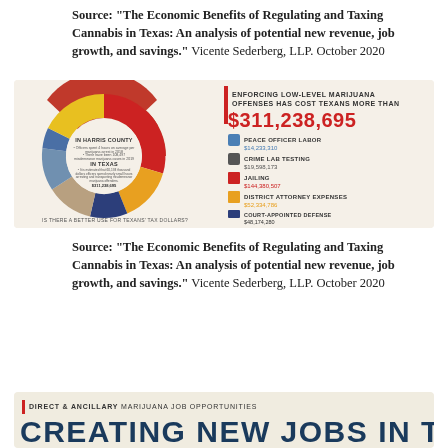Source: "The Economic Benefits of Regulating and Taxing Cannabis in Texas: An analysis of potential new revenue, job growth, and savings." Vicente Sederberg, LLP. October 2020
[Figure (infographic): Infographic showing enforcing low-level marijuana offenses has cost Texans more than $311,238,695. Donut chart showing breakdown by: Peace Officer Labor $14,233,310; Crime Lab Testing $19,598,173; Jailing $144,380,507; District Attorney Expenses $52,334,786; Court-Appointed Defense $48,174,280; Court Costs $32,517,639. In Harris County and In Texas statistics shown in the center. Question: Is there a better use for Texans' tax dollars?]
Source: "The Economic Benefits of Regulating and Taxing Cannabis in Texas: An analysis of potential new revenue, job growth, and savings." Vicente Sederberg, LLP. October 2020
[Figure (infographic): Infographic header: Direct & Ancillary Marijuana Job Opportunities - Creating New Jobs in Texas]